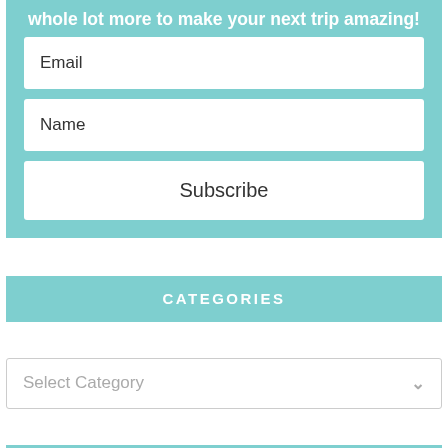whole lot more to make your next trip amazing!
Email
Name
Subscribe
CATEGORIES
Select Category
LATEST POSTS